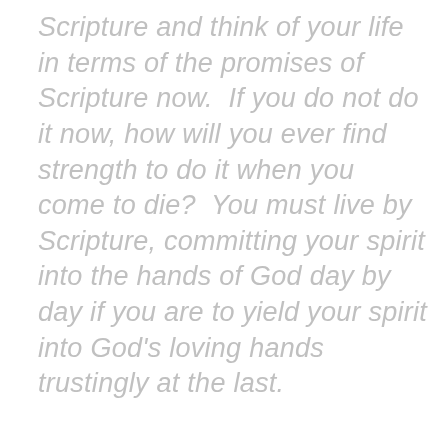Scripture and think of your life in terms of the promises of Scripture now.  If you do not do it now, how will you ever find strength to do it when you come to die?  You must live by Scripture, committing your spirit into the hands of God day by day if you are to yield your spirit into God's loving hands trustingly at the last.